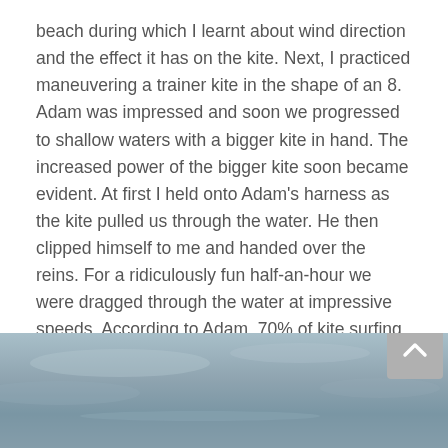beach during which I learnt about wind direction and the effect it has on the kite. Next, I practiced maneuvering a trainer kite in the shape of an 8. Adam was impressed and soon we progressed to shallow waters with a bigger kite in hand. The increased power of the bigger kite soon became evident. At first I held onto Adam's harness as the kite pulled us through the water. He then clipped himself to me and handed over the reins. For a ridiculously fun half-an-hour we were dragged through the water at impressive speeds. According to Adam, 70% of kite surfing is kiting technique and the rest is boarding. I was over half-way there! It was easier than I had ever imagined.
[Figure (photo): Partial view of a beach/water scene, muted blue-grey tones, partially cut off at bottom of page. A grey scroll-to-top button with an upward chevron arrow is overlaid in the upper-right corner of the photo.]